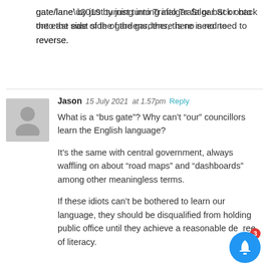gate/lane’ by just turning into Trafalgar St or back onto the east side of the gardens, there is no need to reverse.
Jason  15 July 2021  at 1.57pm  Reply
What is a “bus gate”? Why can’t “our” councillors learn the English language?

It’s the same with central government, always waffling on about “road maps” and “dashboards” among other meaningless terms.

If these idiots can’t be bothered to learn our language, they should be disqualified from holding public office until they achieve a reasonable degree of literacy.